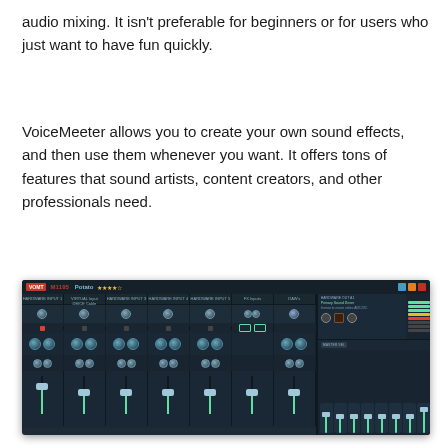audio mixing. It isn't preferable for beginners or for users who just want to have fun quickly.
VoiceMeeter allows you to create your own sound effects, and then use them whenever you want. It offers tons of features that sound artists, content creators, and other professionals need.
[Figure (screenshot): Screenshot of VoiceMeeter Potato audio mixing software interface showing multiple channel strips with knobs, faders, LED indicators, and a tape deck display on a dark blue-grey background.]